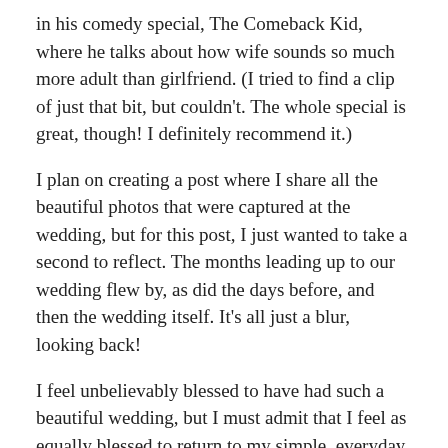in his comedy special, The Comeback Kid, where he talks about how wife sounds so much more adult than girlfriend. (I tried to find a clip of just that bit, but couldn't. The whole special is great, though! I definitely recommend it.)
I plan on creating a post where I share all the beautiful photos that were captured at the wedding, but for this post, I just wanted to take a second to reflect. The months leading up to our wedding flew by, as did the days before, and then the wedding itself. It's all just a blur, looking back!
I feel unbelievably blessed to have had such a beautiful wedding, but I must admit that I feel as equally blessed to return to my simple, everyday life, only now as a WIFE!!!
It's so nice to be back home, and settled back into our routine. I think it's safe to say that Bobby and I are at our most comfortable when we are NOT in the spotlight, but I feel so absolutely loved by everyone who helped us with